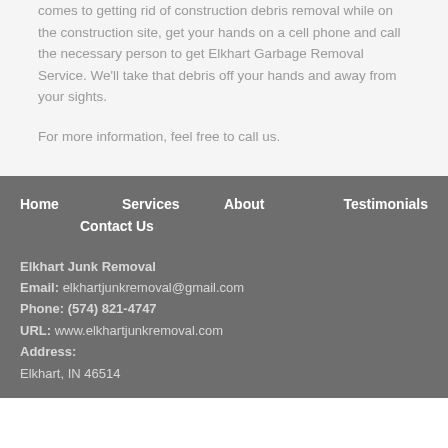comes to getting rid of construction debris removal while on the construction site, get your hands on a cell phone and call the necessary person to get Elkhart Garbage Removal Service. We'll take that debris off your hands and away from your sights.
For more information, feel free to call us.
Home
Services
About
Testimonials
Contact Us
Elkhart Junk Removal
Email: elkhartjunkremoval@gmail.com
Phone: (574) 821-4747
URL: www.elkhartjunkremoval.com
Address:
Elkhart, IN 46514